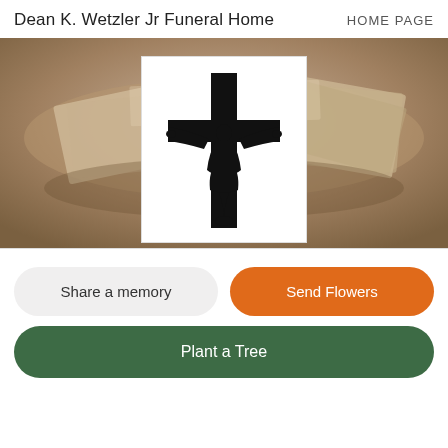Dean K. Wetzler Jr Funeral Home   HOME PAGE
[Figure (illustration): A banner background showing a sepia-toned image of scattered photographs/books, with a white box overlay containing a black silhouette illustration of a crucifix (cross with figure of Jesus).]
Share a memory
Send Flowers
Plant a Tree